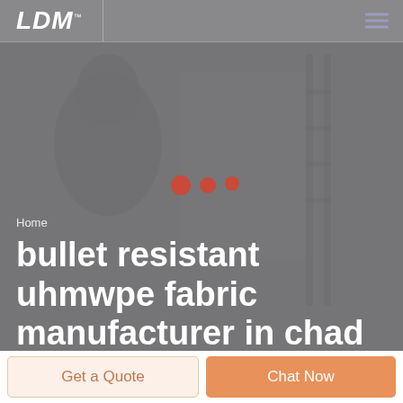[Figure (photo): Grayscale hero background image showing a person, overlaid with semi-transparent gray tint]
LDM™  [hamburger menu icon]
Home
bullet resistant uhmwpe fabric manufacturer in chad
Get a Quote
Chat Now